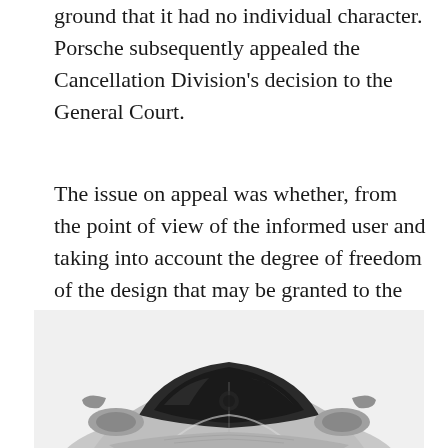ground that it had no individual character. Porsche subsequently appealed the Cancellation Division's decision to the General Court.
The issue on appeal was whether, from the point of view of the informed user and taking into account the degree of freedom of the design that may be granted to the designer of the design, the overall impression produced by the contested design differs from that produced by the earlier designs.
[Figure (photo): Black and white front-view photograph of a Porsche car, showing the hood, windshield, headlights, and side mirrors, cropped at the bottom.]